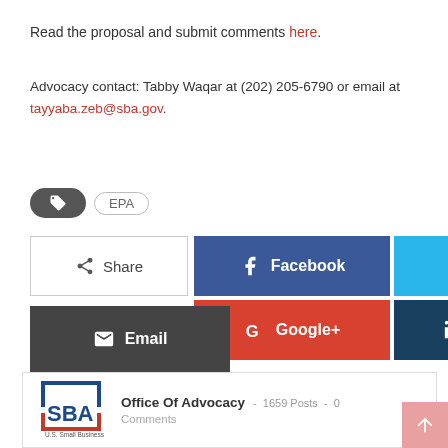Read the proposal and submit comments here.
Advocacy contact: Tabby Waqar at (202) 205-6790 or email at tayyaba.zeb@sba.gov.
EPA (tag)
[Figure (infographic): Social share buttons: Share, Facebook, Twitter, Google+, Linkedin, Email]
[Figure (logo): SBA (U.S. Small Business Administration) logo with Office Of Advocacy text, 1659 Posts, 0 Comments]